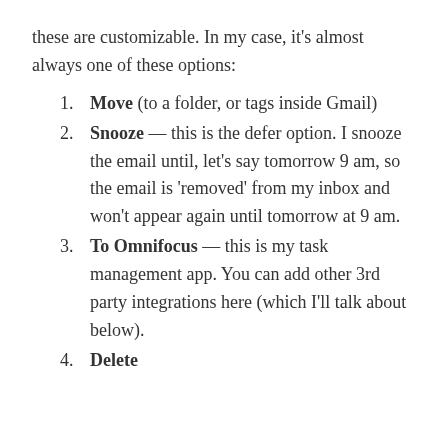these are customizable. In my case, it's almost always one of these options:
Move (to a folder, or tags inside Gmail)
Snooze — this is the defer option. I snooze the email until, let's say tomorrow 9 am, so the email is 'removed' from my inbox and won't appear again until tomorrow at 9 am.
To Omnifocus — this is my task management app. You can add other 3rd party integrations here (which I'll talk about below).
Delete